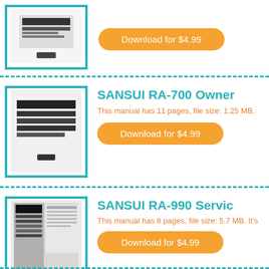[Figure (photo): Thumbnail image of a Sansui device manual cover inside a teal border frame]
Download for $4.99
SANSUI RA-700 Owner...
This manual has 11 pages, file size: 1.25 MB.
Download for $4.99
[Figure (photo): Thumbnail image of SANSUI RA-990 service manual cover inside a teal border frame]
SANSUI RA-990 Servic...
This manual has 8 pages, file size: 5.7 MB. It's
Download for $4.99